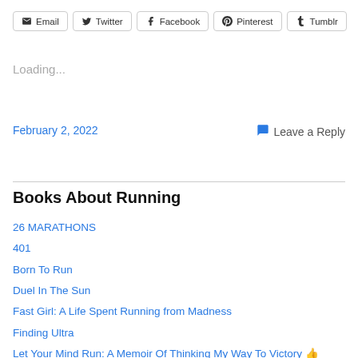[Figure (other): Social share buttons: Email, Twitter, Facebook, Pinterest, Tumblr]
Loading...
February 2, 2022
Leave a Reply
Books About Running
26 MARATHONS
401
Born To Run
Duel In The Sun
Fast Girl: A Life Spent Running from Madness
Finding Ultra
Let Your Mind Run: A Memoir Of Thinking My Way To Victory 👍
Marathon Man 👍